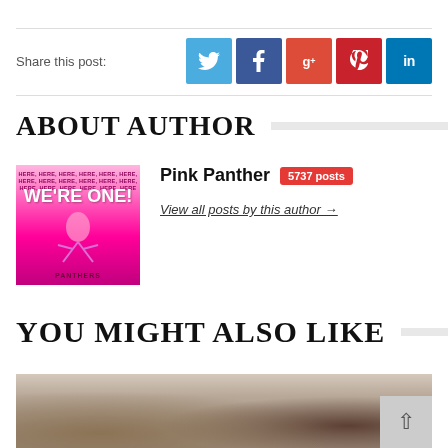Share this post:
[Figure (infographic): Social share buttons: Twitter (blue), Facebook (dark blue), Google+ (red-orange), Pinterest (red), LinkedIn (blue)]
ABOUT AUTHOR
[Figure (photo): Pink Panther avatar image with pink background and text 'We're One!']
Pink Panther  5737 posts
View all posts by this author →
YOU MIGHT ALSO LIKE
[Figure (photo): Photo of two Black men facing each other in conversation, partially visible]